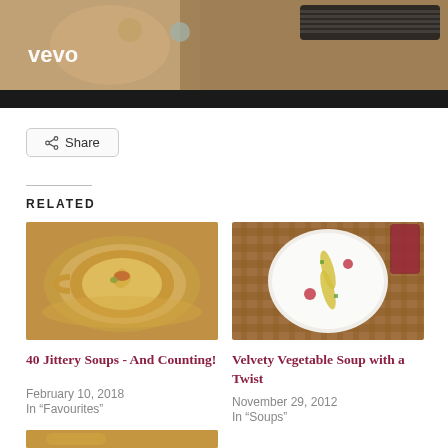[Figure (photo): Video thumbnail with Vevo logo overlay showing a woman holding a guitar, bottom portion is black bar]
Share
RELATED
[Figure (photo): Bowl of soup with cream swirl and garnish on gold-rimmed dish]
40 Jittery Soups - And Counting!
February 10, 2018
In "Favourites"
[Figure (photo): White bowl with decorative vegetable arrangement on woven mat]
Velvety Vegetable Soup with a Twist
November 29, 2012
In "Soups"
[Figure (photo): Third soup image partially visible at bottom of page]